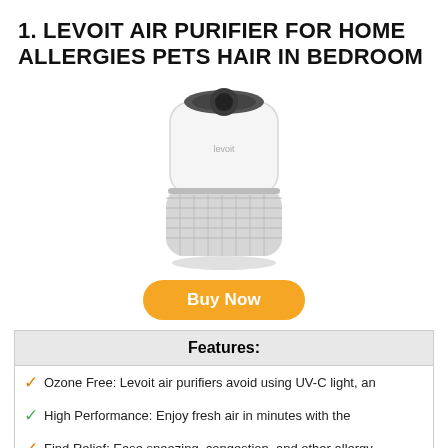1. LEVOIT AIR PURIFIER FOR HOME ALLERGIES PETS HAIR IN BEDROOM
[Figure (photo): White cylindrical Levoit air purifier with mesh base and dark control panel on top]
Buy Now
| Features: |
| --- |
| ✓ Ozone Free: Levoit air purifiers avoid using UV-C light, an |
| ✓ High Performance: Enjoy fresh air in minutes with the |
| ✓ Find Relief: Ease sneezing, congestion, and other allergy |
| ✓ Multiple Filter Choices: Choose from a variety of |
| ✓ Most Silent Air Cleaner: Choose Sleep Mode at night and |